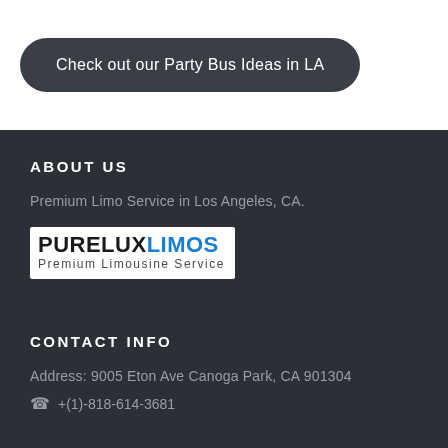Check out our Party Bus Ideas in LA
ABOUT US
Premium Limo Service in Los Angeles, CA.
[Figure (logo): PureLux Limos logo — 'PURELUX' in black bold and 'LIMOS' in blue, with 'Premium Limousine Service' subtitle below]
CONTACT INFO
Address: 9005 Eton Ave Canoga Park, CA 901304
+(1)-818-614-3681